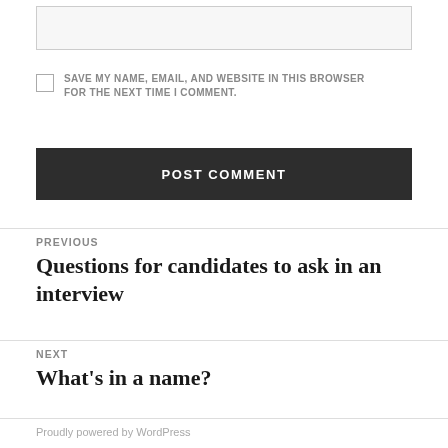[input box]
SAVE MY NAME, EMAIL, AND WEBSITE IN THIS BROWSER FOR THE NEXT TIME I COMMENT.
POST COMMENT
PREVIOUS
Questions for candidates to ask in an interview
NEXT
What's in a name?
Proudly powered by WordPress